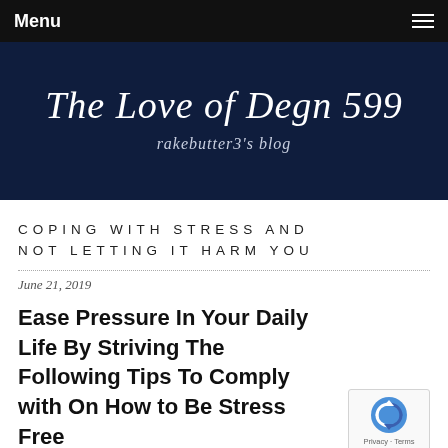Menu
The Love of Degn 599
rakebutter3's blog
COPING WITH STRESS AND NOT LETTING IT HARM YOU
June 21, 2019
Ease Pressure In Your Daily Life By Striving The Following Tips To Comply with On How to Be Stress Free